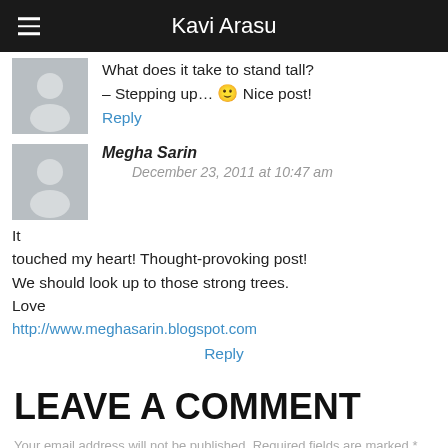Kavi Arasu
What does it take to stand tall? – Stepping up… 🙂 Nice post!
Reply
Megha Sarin
December 23, 2011 at 10:47 am
It touched my heart! Thought-provoking post!
We should look up to those strong trees.
Love
http://www.meghasarin.blogspot.com
Reply
LEAVE A COMMENT
Your email address will not be published. Required fields are marked *